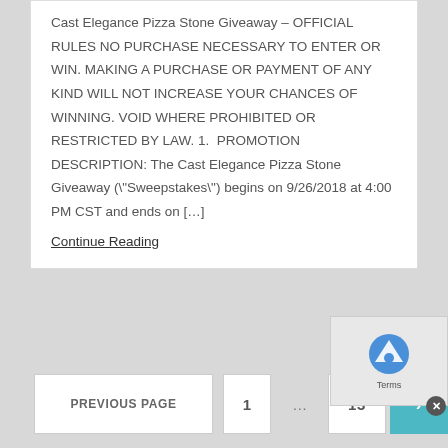Cast Elegance Pizza Stone Giveaway – OFFICIAL RULES NO PURCHASE NECESSARY TO ENTER OR WIN. MAKING A PURCHASE OR PAYMENT OF ANY KIND WILL NOT INCREASE YOUR CHANCES OF WINNING. VOID WHERE PROHIBITED OR RESTRICTED BY LAW. 1.  PROMOTION DESCRIPTION: The Cast Elegance Pizza Stone Giveaway ("Sweepstakes") begins on 9/26/2018 at 4:00 PM CST and ends on […]
Continue Reading
PREVIOUS PAGE  1  ...  13